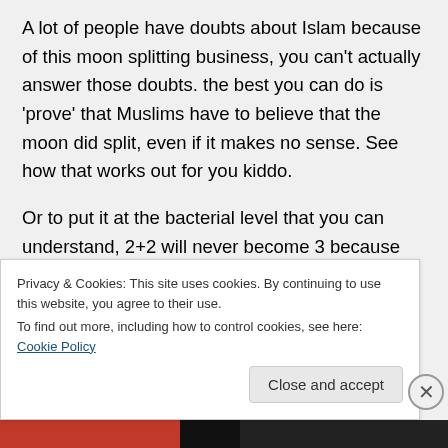A lot of people have doubts about Islam because of this moon splitting business, you can't actually answer those doubts. the best you can do is 'prove' that Muslims have to believe that the moon did split, even if it makes no sense. See how that works out for you kiddo.
Or to put it at the bacterial level that you can understand, 2+2 will never become 3 because your Imam or even the Quran said
Privacy & Cookies: This site uses cookies. By continuing to use this website, you agree to their use.
To find out more, including how to control cookies, see here: Cookie Policy